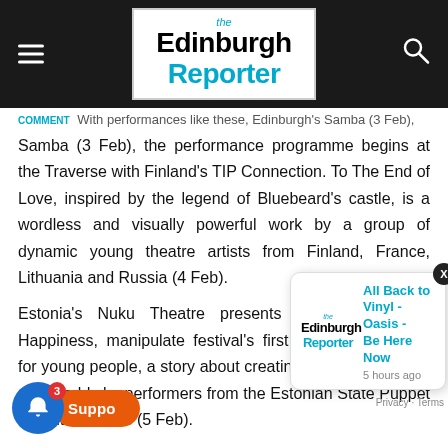The Edinburgh Reporter
Samba (3 Feb), the performance programme begins at the Traverse with Finland's TIP Connection. To The End of Love, inspired by the legend of Bluebeard's castle, is a wordless and visually powerful work by a group of dynamic young theatre artists from Finland, France, Lithuania and Russia (4 Feb).
Estonia's Nuku Theatre presents A Wild Growling Happiness, manipulate festival's first work programmed for young people, a story about creating and exploring our own worlds by performers from the Estonian State Puppet & Youth Theatre (5 Feb).
...and, return to Edinburgh with 2011 Fringe hit, The Odyssey. Homer's classic story is